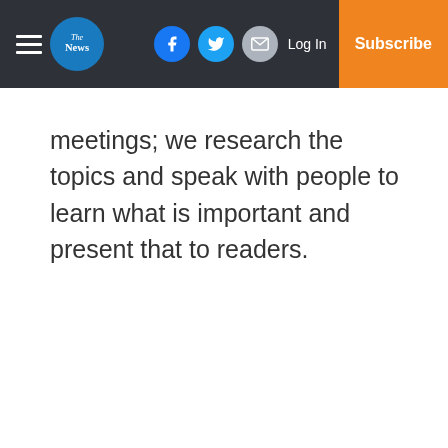The News — Log In | Subscribe
meetings; we research the topics and speak with people to learn what is important and present that to readers.